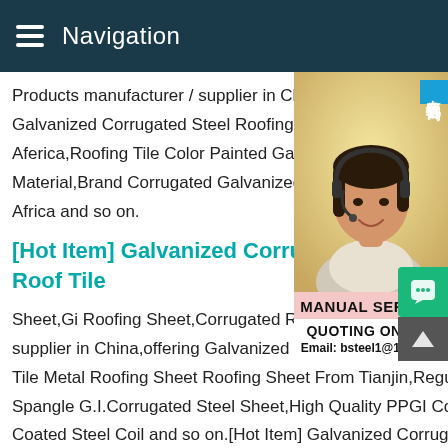Navigation
Products manufacturer / supplier in China, Galvanized Corrugated Steel Roofing She Aferica,Roofing Tile Color Painted Galvani Material,Brand Corrugated Galvanized Ste Africa and so on.
[Hot Item] Galvanized Corrug Roof Tile
Sheet,Gi Roofing Sheet,Corrugated Roofi supplier in China,offering Galvanized Corr Tile Metal Roofing Sheet Roofing Sheet From Tianjin,Regular Spangle G.I.Corrugated Steel Sheet,High Quality PPGI Color Coated Steel Coil and so on.[Hot Item] Galvanized Corrugated Steel Metal Roof Tile Sheet,Gi Roofing Sheet,Corrugated Roo Sheet manufacturer / supplier in China,offering Galvanized Corrugated Steel Metal Roof Tile Metal Roofing Sheet Roofing
[Figure (photo): Customer service woman wearing headset, smiling, with online consultation badge and manual service / quoting online contact panel]